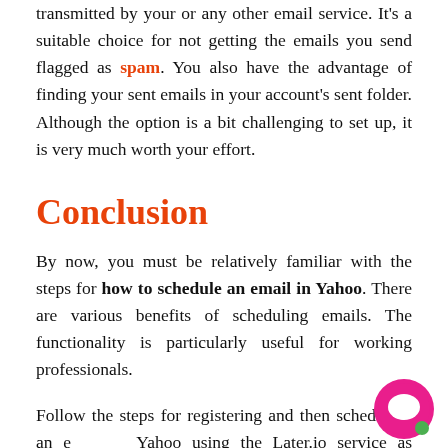transmitted by your or any other email service. It's a suitable choice for not getting the emails you send flagged as spam. You also have the advantage of finding your sent emails in your account's sent folder. Although the option is a bit challenging to set up, it is very much worth your effort.
Conclusion
By now, you must be relatively familiar with the steps for how to schedule an email in Yahoo. There are various benefits of scheduling emails. The functionality is particularly useful for working professionals.
Follow the steps for registering and then scheduling an email in Yahoo using the Later.io service as described above. If you face